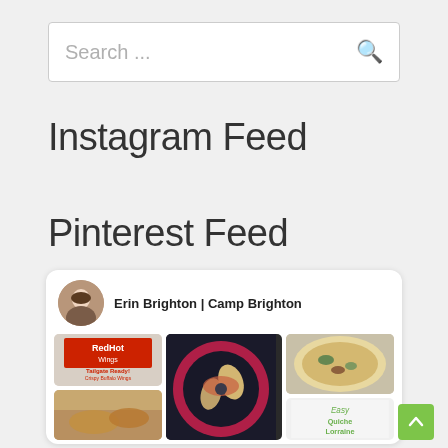Search ...
Instagram Feed
Pinterest Feed
[Figure (screenshot): Pinterest feed widget showing profile 'Erin Brighton | Camp Brighton' with avatar and a grid of food pin images including RedHot Wings, buffalo wings text, a bowl of food, and a quiche]
Erin Brighton | Camp Brighton